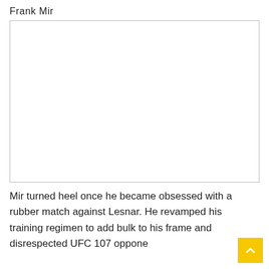Frank Mir
[Figure (photo): Empty white image placeholder with a thin border, representing a photo of Frank Mir.]
Mir turned heel once he became obsessed with a rubber match against Lesnar. He revamped his training regimen to add bulk to his frame and disrespected UFC 107 opponent Chris Leben...